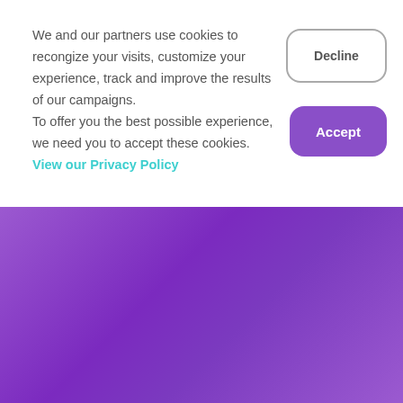We and our partners use cookies to recongize your visits, customize your experience, track and improve the results of our campaigns. To offer you the best possible experience, we need you to accept these cookies. View our Privacy Policy
[Figure (screenshot): Decline button - rounded rectangle with gray border on white background]
[Figure (screenshot): Accept button - rounded rectangle with purple background]
[Figure (screenshot): Bottom purple gradient section with SEE HOW IT WORKS outlined button and VIEW PRICES teal button, plus a floating card shape]